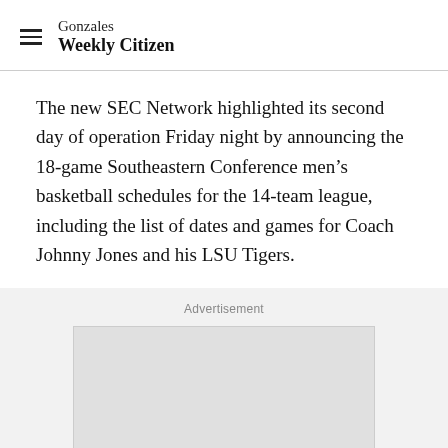Gonzales Weekly Citizen
The new SEC Network highlighted its second day of operation Friday night by announcing the 18-game Southeastern Conference men’s basketball schedules for the 14-team league, including the list of dates and games for Coach Johnny Jones and his LSU Tigers.
Advertisement